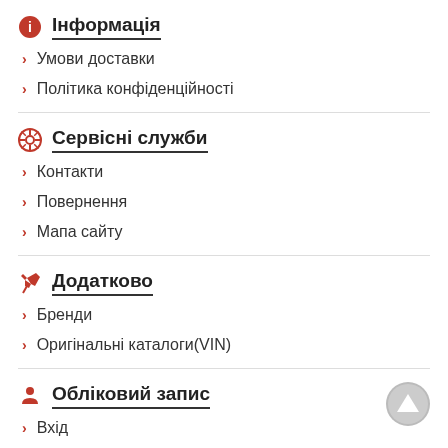Інформація
Умови доставки
Політика конфіденційності
Сервісні служби
Контакти
Повернення
Мапа сайту
Додатково
Бренди
Оригінальні каталоги(VIN)
Обліковий запис
Вхід
Реєстрація